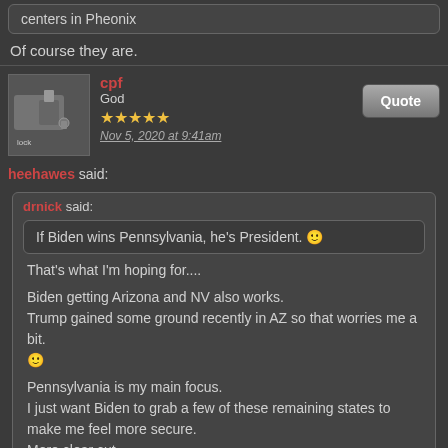centers in Pheonix
Of course they are.
cpf
God
Nov 5, 2020 at 9:41am
heehawes said:
drnick said:
If Biden wins Pennsylvania, he's President. 🙂
That's what I'm hoping for....
Biden getting Arizona and NV also works.
Trump gained some ground recently in AZ so that worries me a bit. 🙂
Pennsylvania is my main focus.
I just want Biden to grab a few of these remaining states to make me feel more secure.
More clear cut.
Less room for Trump to pull shenanigans.